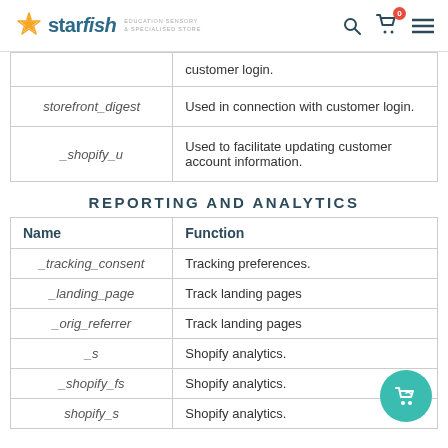starfish EDUCATION SENSORY & SPECIALISED STORE
| Name | Function |
| --- | --- |
|  | customer login. |
| storefront_digest | Used in connection with customer login. |
| _shopify_u | Used to facilitate updating customer account information. |
REPORTING AND ANALYTICS
| Name | Function |
| --- | --- |
| _tracking_consent | Tracking preferences. |
| _landing_page | Track landing pages |
| _orig_referrer | Track landing pages |
| _s | Shopify analytics. |
| _shopify_fs | Shopify analytics. |
| shopify_s | Shopify analytics. |